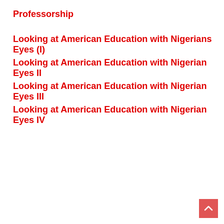Professorship
Looking at American Education with Nigerians Eyes (I)
Looking at American Education with Nigerian Eyes II
Looking at American Education with Nigerian Eyes III
Looking at American Education with Nigerian Eyes IV